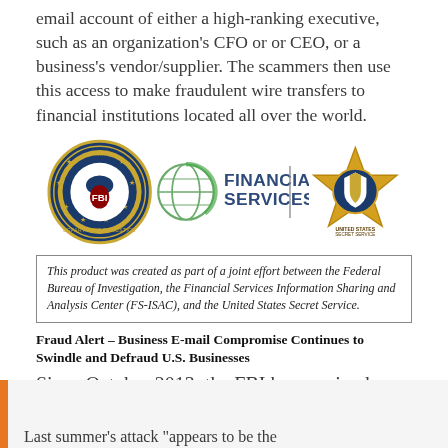email account of either a high-ranking executive, such as an organization’s CFO or or CEO, or a business’s vendor/supplier. The scammers then use this access to make fraudulent wire transfers to financial institutions located all over the world.
[Figure (logo): Three logos: FBI seal, Financial Services ISAC logo, US Secret Service star badge]
This product was created as part of a joint effort between the Federal Bureau of Investigation, the Financial Services Information Sharing and Analysis Center (FS-ISAC), and the United States Secret Service.
Fraud Alert – Business E-mail Compromise Continues to Swindle and Defraud U.S. Businesses
Since October 2013, the FBI has received 17,642 reports from victims of this type of scam, amounting to more than US$2.3 billion in losses.
Last summer’s attack “appears to be the